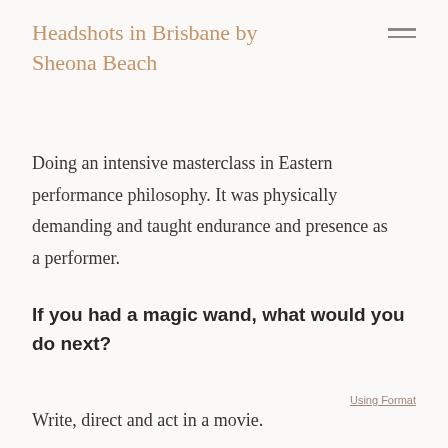Headshots in Brisbane by Sheona Beach
Doing an intensive masterclass in Eastern performance philosophy. It was physically demanding and taught endurance and presence as a performer.
If you had a magic wand, what would you do next?
Using Format
Write, direct and act in a movie.